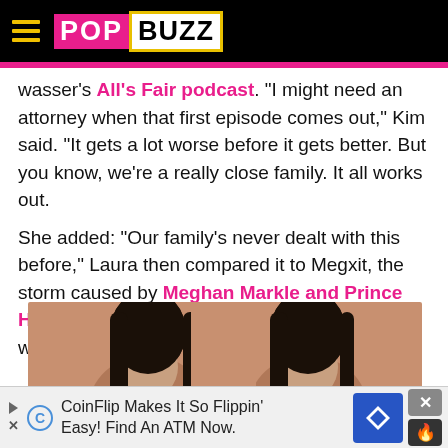PopBuzz
wasser's All's Fair podcast. "I might need an attorney when that first episode comes out," Kim said. "It gets a lot worse before it gets better. But you know, we're a really close family. It all works out.
She added: "Our family's never dealt with this before," Laura then compared it to Megxit, the storm caused by Meghan Markle and Prince Harry ditching their royal titles. "No it wasn't, it was a little... violent," Kim replied.
[Figure (photo): Two women with long dark hair posing together against a light peach/tan background, cropped at chin/face level]
CoinFlip Makes It So Flippin' Easy! Find An ATM Now.